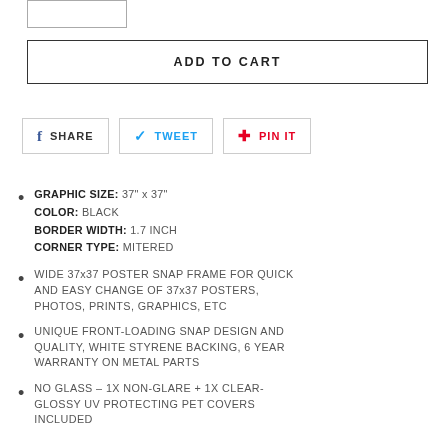[Figure (other): Top quantity input box (partial, cropped at top)]
ADD TO CART
f SHARE   TWEET   PIN IT
GRAPHIC SIZE: 37" x 37" COLOR: BLACK BORDER WIDTH: 1.7 INCH CORNER TYPE: MITERED
WIDE 37x37 POSTER SNAP FRAME FOR QUICK AND EASY CHANGE OF 37x37 POSTERS, PHOTOS, PRINTS, GRAPHICS, ETC
UNIQUE FRONT-LOADING SNAP DESIGN AND QUALITY, WHITE STYRENE BACKING, 6 YEAR WARRANTY ON METAL PARTS
NO GLASS - 1X NON-GLARE + 1X CLEAR-GLOSSY UV PROTECTING PET COVERS INCLUDED